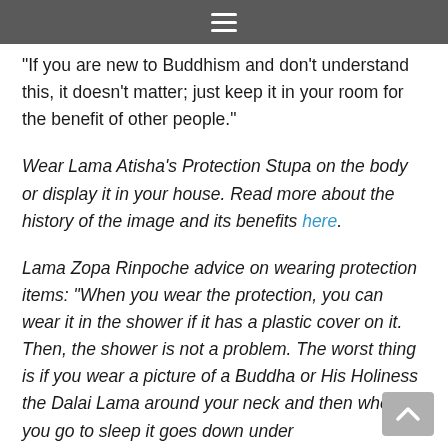☰
"If you are new to Buddhism and don't understand this, it doesn't matter; just keep it in your room for the benefit of other people."
Wear Lama Atisha's Protection Stupa on the body or display it in your house. Read more about the history of the image and its benefits here.
Lama Zopa Rinpoche advice on wearing protection items: "When you wear the protection, you can wear it in the shower if it has a plastic cover on it. Then, the shower is not a problem. The worst thing is if you wear a picture of a Buddha or His Holiness the Dalai Lama around your neck and then when you go to sleep it goes down under